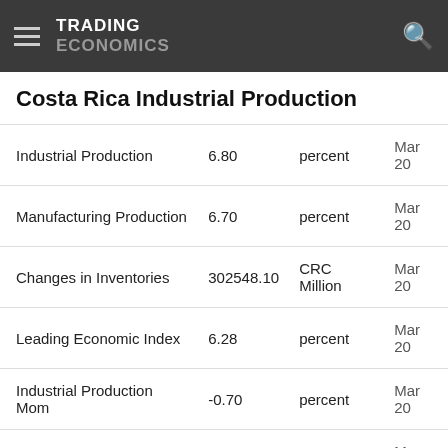TRADING ECONOMICS
Costa Rica Industrial Production
| Indicator | Value | Unit | Date |
| --- | --- | --- | --- |
| Industrial Production | 6.80 | percent | Mar 20 |
| Manufacturing Production | 6.70 | percent | Mar 20 |
| Changes in Inventories | 302548.10 | CRC Million | Mar 20 |
| Leading Economic Index | 6.28 | percent | Mar 20 |
| Industrial Production Mom | -0.70 | percent | Mar 20 |
| Mining Production | -2.30 | percent | Mar 20 |
+
Costa Rica Industrial Production